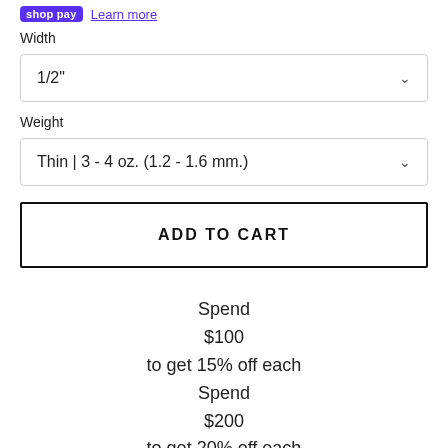shop pay  Learn more
Width
1/2"
Weight
Thin | 3 - 4 oz. (1.2 - 1.6 mm.)
ADD TO CART
Spend
$100
to get 15% off each
Spend
$200
to get 20% off each